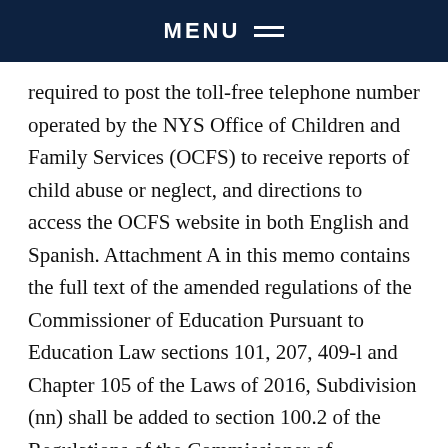MENU
required to post the toll-free telephone number operated by the NYS Office of Children and Family Services (OCFS) to receive reports of child abuse or neglect, and directions to access the OCFS website in both English and Spanish. Attachment A in this memo contains the full text of the amended regulations of the Commissioner of Education Pursuant to Education Law sections 101, 207, 409-l and Chapter 105 of the Laws of 2016, Subdivision (nn) shall be added to section 100.2 of the Regulations of the Commissioner of Education defining this requirement.